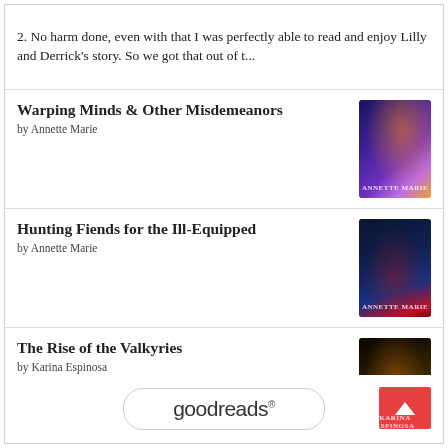2. No harm done, even with that I was perfectly able to read and enjoy Lilly and Derrick's story. So we got that out of t...
Warping Minds & Other Misdemeanors by Annette Marie
Hunting Fiends for the Ill-Equipped by Annette Marie
The Rise of the Valkyries by Karina Espinosa. Here we have it guys, book 3 is finally here and just to break it to you early, it looks to me that it is the last one of the series. I say this, but Karina might create a new series with Raven and Fen and have them on a new set of adven...
[Figure (logo): Goodreads logo in rounded rectangle button]
[Figure (other): Red scroll-to-top button with upward arrow]